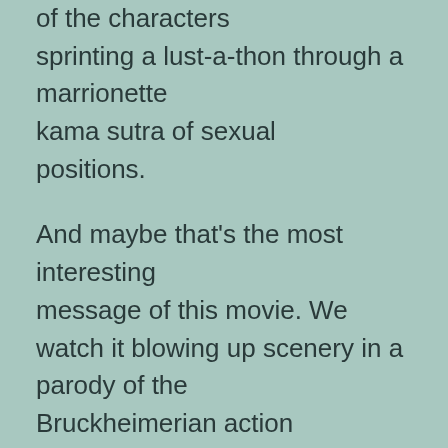of the characters sprinting a lust-a-thon through a marrionette kama sutra of sexual positions.

And maybe that's the most interesting message of this movie. We watch it blowing up scenery in a parody of the Bruckheimerian action flick, but what's really being exploded is the fixed categories of the post-1960s culture wars. The South Park guys are trying to divorce the...